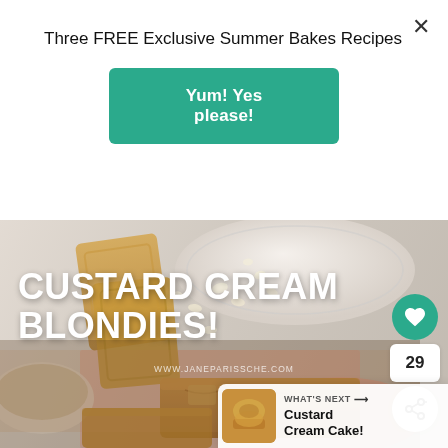Three FREE Exclusive Summer Bakes Recipes
Yum! Yes please!
[Figure (photo): Top-down food photo of custard cream blondies with biscuits and white chocolate chips scattered on a marble surface, with a hand holding a blondie square. Text overlay reads 'CUSTARD CREAM BLONDIES!' with watermark www.janeparissche.com]
WHAT'S NEXT → Custard Cream Cake!